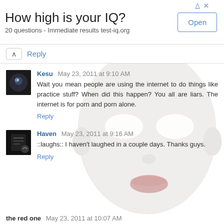[Figure (screenshot): Advertisement banner: 'How high is your IQ? 20 questions - Immediate results test-iq.org' with an Open button]
Reply
[Figure (photo): White mannequin/mask face overlaid on the comment section]
Kesu May 23, 2011 at 9:10 AM
Wait you mean people are using the internet to do things like practice stuff? When did this happen? You all are liars. The internet is for porn and porn alone.
Reply
Haven May 23, 2011 at 9:16 AM
::laughs:: I haven't laughed in a couple days. Thanks guys.
Reply
the red one May 23, 2011 at 10:07 AM